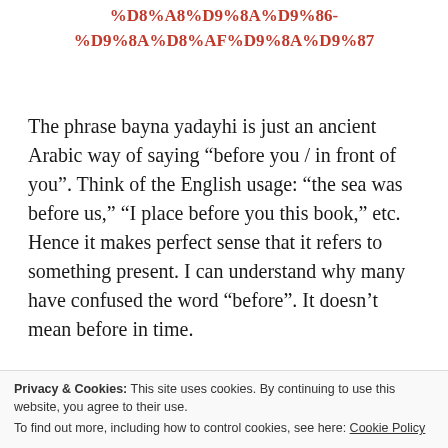%D8%A8%D9%8A%D9%86-%D9%8A%D8%AF%D9%8A%D9%87
The phrase bayna yadayhi is just an ancient Arabic way of saying “before you / in front of you”. Think of the English usage: “the sea was before us,” “I place before you this book,” etc. Hence it makes perfect sense that it refers to something present. I can understand why many have confused the word “before”. It doesn’t mean before in time.
Privacy & Cookies: This site uses cookies. By continuing to use this website, you agree to their use.
To find out more, including how to control cookies, see here: Cookie Policy
actually means before the presence of